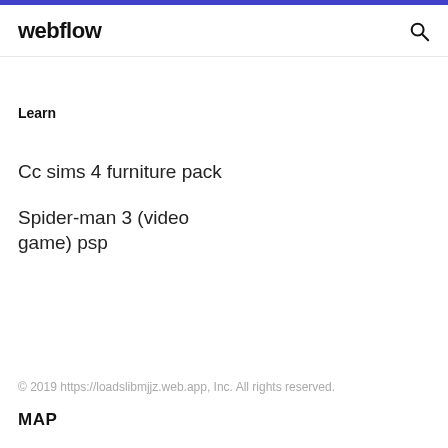webflow
Learn
Cc sims 4 furniture pack
Spider-man 3 (video game) psp
© 2019 https://loadslibmjjz.web.app, Inc. All rights reserved.
MAP